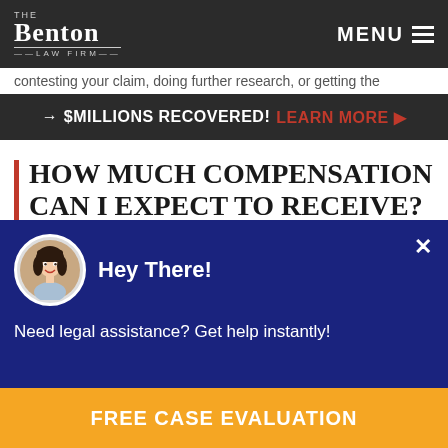The Benton Law Firm | MENU
contesting your claim, doing further research, or getting the
→ $MILLIONS RECOVERED! LEARN MORE ▶
HOW MUCH COMPENSATION CAN I EXPECT TO RECEIVE?
An estimate would be difficult to give without knowing all of the facts, as your case has its own set of issues and circumstances. Your compensation will likely be based on your
Hey There!
Need legal assistance? Get help instantly!
FREE CASE EVALUATION